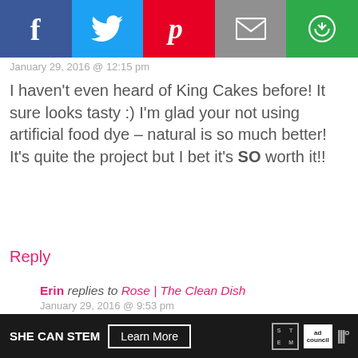[Figure (screenshot): Social sharing bar with Facebook (blue), Twitter (light blue), Pinterest (red), Email (gray), and Save (green) buttons with white icons]
January 29, 2016 @ 12:15 pm
I haven't even heard of King Cakes before! It sure looks tasty :) I'm glad your not using artificial food dye – natural is so much better! It's quite the project but I bet it's SO worth it!!
Reply
Erin replies to Rose | The Clean Dish
January 29, 2016 @ 9:53 pm

I knew you'd appreciate the lack of food coloring. ;) And King Cake is a Mardi Gras thing!
Reply
[Figure (other): Scroll to top button box]
SHE CAN STEM  Learn More  [STEM logo] [ad council] [weather icon]